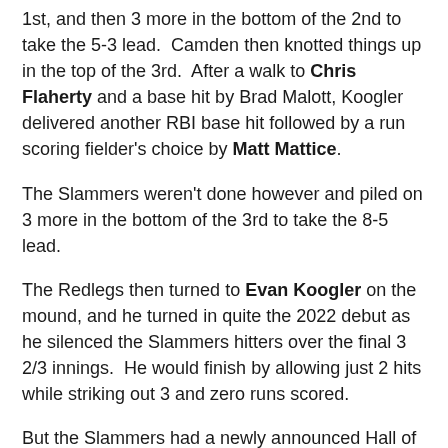1st, and then 3 more in the bottom of the 2nd to take the 5-3 lead. Camden then knotted things up in the top of the 3rd. After a walk to Chris Flaherty and a base hit by Brad Malott, Koogler delivered another RBI base hit followed by a run scoring fielder's choice by Matt Mattice.
The Slammers weren't done however and piled on 3 more in the bottom of the 3rd to take the 8-5 lead.
The Redlegs then turned to Evan Koogler on the mound, and he turned in quite the 2022 debut as he silenced the Slammers hitters over the final 3 2/3 innings. He would finish by allowing just 2 hits while striking out 3 and zero runs scored.
But the Slammers had a newly announced Hall of Famer up their sleeve as well, and they brought on Jeff Beall to toss the final 3 innings of the game. Camden was able to muster one run off of Beall in the top of the 7th when Jesse Jones singled and then scored on a double by Kyle Arend, but